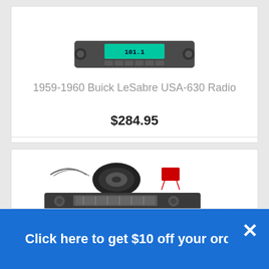[Figure (photo): 1959-1960 Buick LeSabre USA-630 Radio product image - a dark gray car radio with green digital display and knobs on both sides]
1959-1960 Buick LeSabre USA-630 Radio
$284.95
[Figure (photo): Car audio kit product image showing a speaker, wiring, and a vintage-style car radio unit]
Click here to get $10 off your order